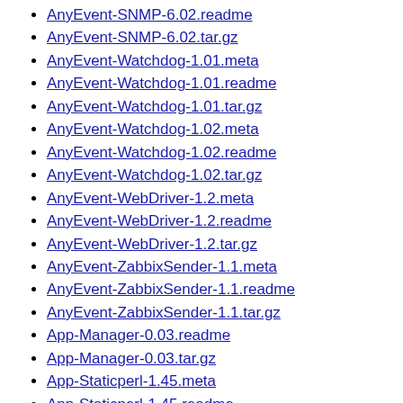AnyEvent-SNMP-6.02.readme
AnyEvent-SNMP-6.02.tar.gz
AnyEvent-Watchdog-1.01.meta
AnyEvent-Watchdog-1.01.readme
AnyEvent-Watchdog-1.01.tar.gz
AnyEvent-Watchdog-1.02.meta
AnyEvent-Watchdog-1.02.readme
AnyEvent-Watchdog-1.02.tar.gz
AnyEvent-WebDriver-1.2.meta
AnyEvent-WebDriver-1.2.readme
AnyEvent-WebDriver-1.2.tar.gz
AnyEvent-ZabbixSender-1.1.meta
AnyEvent-ZabbixSender-1.1.readme
AnyEvent-ZabbixSender-1.1.tar.gz
App-Manager-0.03.readme
App-Manager-0.03.tar.gz
App-Staticperl-1.45.meta
App-Staticperl-1.45.readme
App-Staticperl-1.45.tar.gz
App-Staticperl-1.46.meta
App-Staticperl-1.46.readme
App-Staticperl-1.46.tar.gz
Array-Heap-3.22.meta
Array-Heap-3.22.readme
Array-Heap-3.22.tar.gz